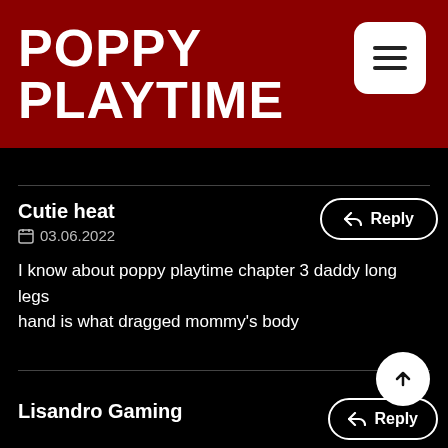POPPY PLAYTIME
Cutie heat
03.06.2022
I know about poppy playtime chapter 3 daddy long legs hand is what dragged mommy's body
Lisandro Gaming